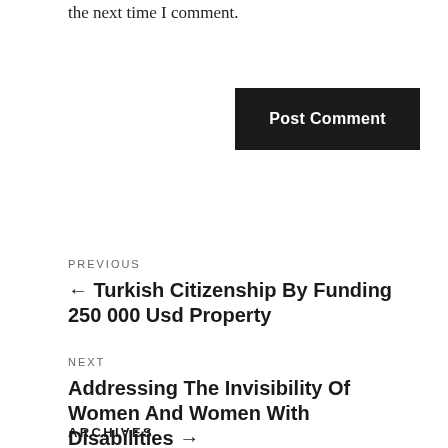the next time I comment.
Post Comment
PREVIOUS
← Turkish Citizenship By Funding 250 000 Usd Property
NEXT
Addressing The Invisibility Of Women And Women With Disabilities →
ARCHIVES